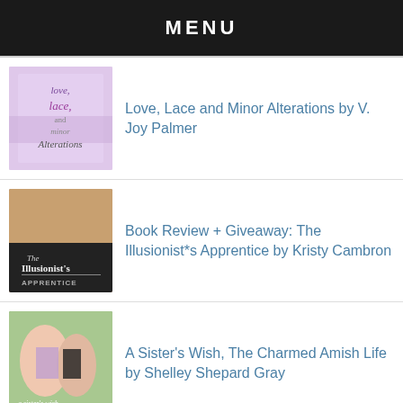MENU
Love, Lace and Minor Alterations by V. Joy Palmer
Book Review + Giveaway: The Illusionist*s Apprentice by Kristy Cambron
A Sister's Wish, The Charmed Amish Life by Shelley Shepard Gray